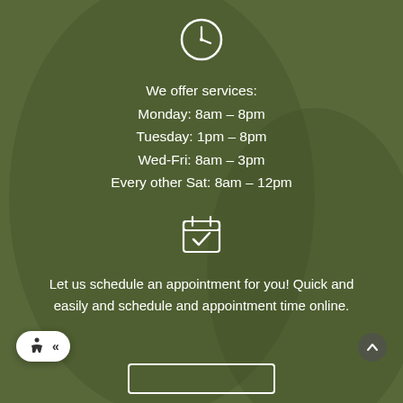[Figure (other): Clock icon — white circle outline with clock hands, centered at top]
We offer services:
Monday: 8am – 8pm
Tuesday: 1pm – 8pm
Wed-Fri: 8am – 3pm
Every other Sat: 8am – 12pm
[Figure (other): Calendar icon with checkmark — white outline calendar with a checkmark inside]
Let us schedule an appointment for you! Quick and easily and schedule and appointment time online.